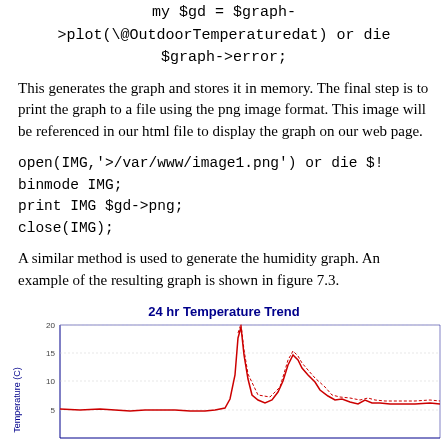This generates the graph and stores it in memory. The final step is to print the graph to a file using the png image format. This image will be referenced in our html file to display the graph on our web page.
A similar method is used to generate the humidity graph. An example of the resulting graph is shown in figure 7.3.
[Figure (line-chart): Line chart showing 24-hour temperature trend, with a peak around the middle of the time range reaching approximately 20C, then settling around 10C.]